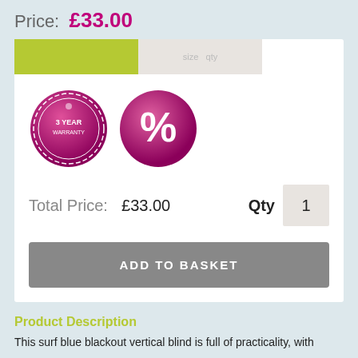Price: £33.00
[Figure (other): Two badges: a 3 Year Warranty badge (magenta circle with gear border) and a percent discount badge (magenta circle with % symbol), both on white background]
Total Price:  £33.00    Qty  1
ADD TO BASKET
Product Description
This surf blue blackout vertical blind is full of practicality, with